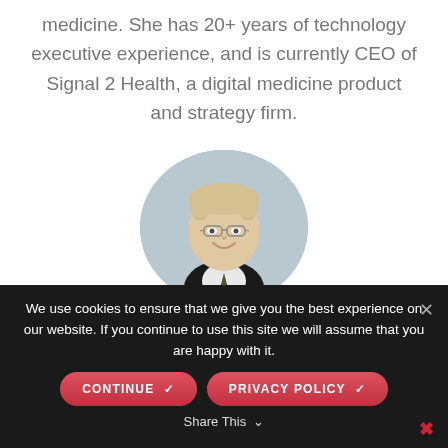medicine. She has 20+ years of technology executive experience, and is currently CEO of Signal 2 Health, a digital medicine product and strategy firm.
[Figure (photo): Circular headshot of a smiling middle-aged man with glasses and short blond hair, wearing a dark suit jacket with a tie, against a light gray background.]
We use cookies to ensure that we give you the best experience on our website. If you continue to use this site we will assume that you are happy with it.
CONTINUE ✓
PRIVACY POLICY ✓
Share This